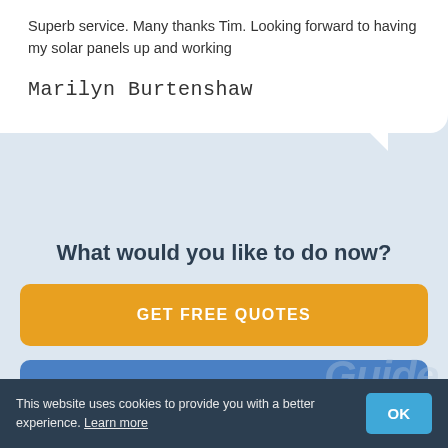Superb service. Many thanks Tim. Looking forward to having my solar panels up and working
Marilyn Burtenshaw
What would you like to do now?
GET FREE QUOTES
READ MORE REVIEWS
This website uses cookies to provide you with a better experience. Learn more
OK